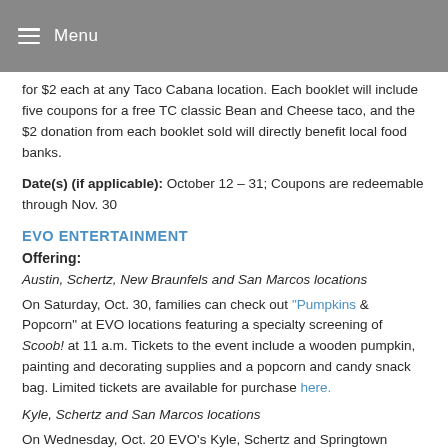Menu
for $2 each at any Taco Cabana location. Each booklet will include five coupons for a free TC classic Bean and Cheese taco, and the $2 donation from each booklet sold will directly benefit local food banks.
Date(s) (if applicable): October 12 – 31; Coupons are redeemable through Nov. 30
EVO ENTERTAINMENT
Offering:
Austin, Schertz, New Braunfels and San Marcos locations
On Saturday, Oct. 30, families can check out "Pumpkins & Popcorn" at EVO locations featuring a specialty screening of Scoob! at 11 a.m. Tickets to the event include a wooden pumpkin, painting and decorating supplies and a popcorn and candy snack bag. Limited tickets are available for purchase here.
Kyle, Schertz and San Marcos locations
On Wednesday, Oct. 20 EVO's Kyle, Schertz and Springtown locations